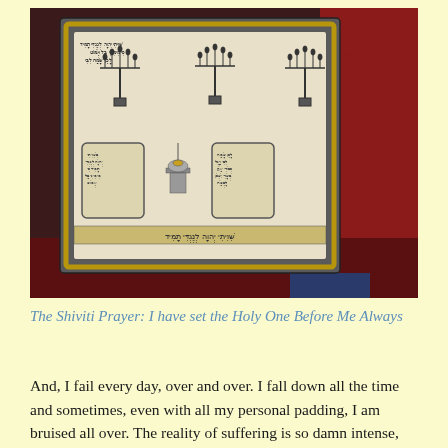[Figure (photo): A framed Shiviti plaque featuring Hebrew text and menorah illustrations, resting on red velvet fabric. The ornate frame is gold and gray. The plaque contains detailed engravings of menorahs, Hebrew inscriptions, and decorative religious imagery.]
The Shiviti Prayer: I have set the Holy One Before Me Always
And, I fail every day, over and over. I fall down all the time and sometimes, even with all my personal padding, I am bruised all over. The reality of suffering is so damn intense,